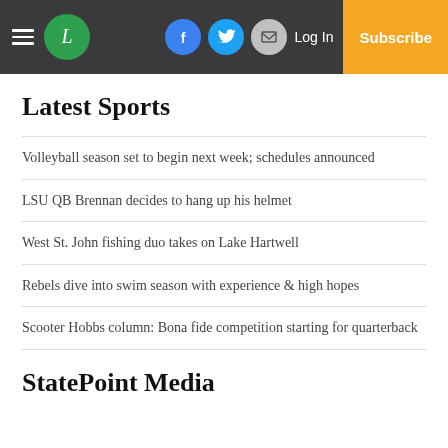Navigation bar with hamburger menu, L logo, social icons (Facebook, Twitter, Email), Log In, Subscribe
Latest Sports
Volleyball season set to begin next week; schedules announced
LSU QB Brennan decides to hang up his helmet
West St. John fishing duo takes on Lake Hartwell
Rebels dive into swim season with experience & high hopes
Scooter Hobbs column: Bona fide competition starting for quarterback
StatePoint Media